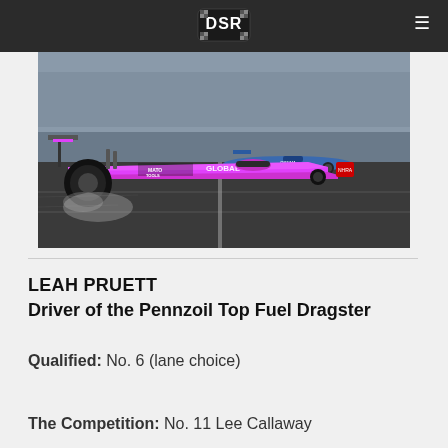DSR logo and navigation menu
[Figure (photo): Leah Pruett's pink Mato Tools / Global Top Fuel Dragster racing on a drag strip, with another blue dragster visible in the background and grandstands full of spectators]
LEAH PRUETT
Driver of the Pennzoil Top Fuel Dragster
Qualified: No. 6 (lane choice)
The Competition: No. 11 Lee Callaway